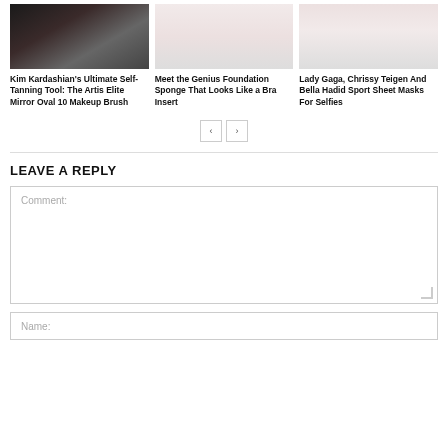[Figure (photo): Photo of Kim Kardashian with dark hair]
Kim Kardashian's Ultimate Self-Tanning Tool: The Artis Elite Mirror Oval 10 Makeup Brush
[Figure (photo): Photo of a foundation sponge that looks like a bra insert]
Meet the Genius Foundation Sponge That Looks Like a Bra Insert
[Figure (photo): Photo of Lady Gaga, Chrissy Teigen and Bella Hadid with sheet masks]
Lady Gaga, Chrissy Teigen And Bella Hadid Sport Sheet Masks For Selfies
LEAVE A REPLY
Comment:
Name: